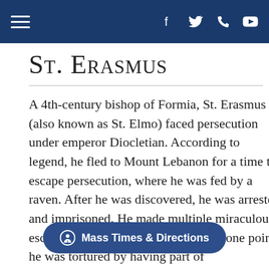Navigation bar with hamburger menu and social icons (Facebook, Twitter, Phone, YouTube)
St. Erasmus
A 4th-century bishop of Formia, St. Erasmus (also known as St. Elmo) faced persecution under emperor Diocletian. According to legend, he fled to Mount Lebanon for a time to escape persecution, where he was fed by a raven. After he was discovered, he was arrested and imprisoned. He made multiple miraculous escapes with the help of an angel. At one point he was tortured by having part of his ... ro accounts say he was miraculously heale